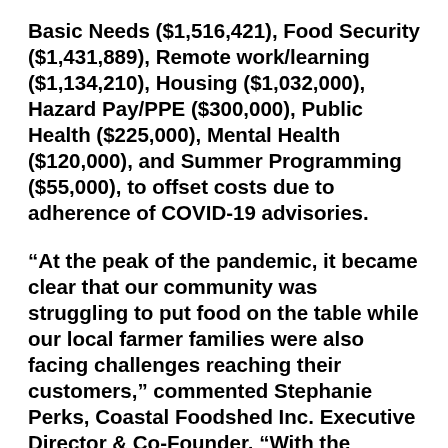Basic Needs ($1,516,421), Food Security ($1,431,889), Remote work/learning ($1,134,210), Housing ($1,032,000), Hazard Pay/PPE ($300,000), Public Health ($225,000), Mental Health ($120,000), and Summer Programming ($55,000), to offset costs due to adherence of COVID-19 advisories.
“At the peak of the pandemic, it became clear that our community was struggling to put food on the table while our local farmer families were also facing challenges reaching their customers,” commented Stephanie Perks, Coastal Foodshed Inc. Executive Director & Co-Founder. “With the support of SCCF, Coastal Foodshed partnered with 12 local farmers to purchase excess food they couldn’t sell due to new social distancing regulations. More than